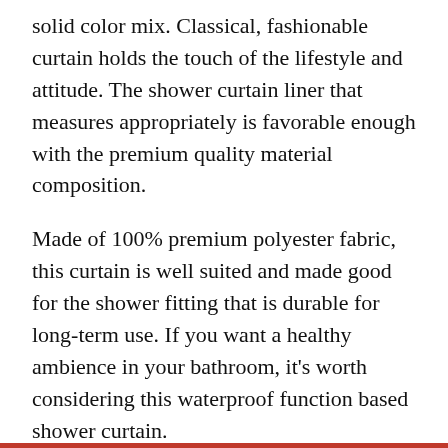solid color mix. Classical, fashionable curtain holds the touch of the lifestyle and attitude. The shower curtain liner that measures appropriately is favorable enough with the premium quality material composition.
Made of 100% premium polyester fabric, this curtain is well suited and made good for the shower fitting that is durable for long-term use. If you want a healthy ambience in your bathroom, it's worth considering this waterproof function based shower curtain.
Covered with the waterproof coating, it's worth considering this bathroom shower curtain. This curtain is acceptable enough because of the design of the bottom. It comes with 12 durable plastic hooks that can stay in place and also work well. It can ensure giving the dry clean and visible area free from